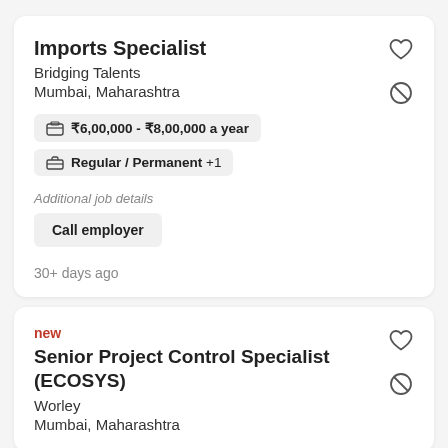Imports Specialist
Bridging Talents
Mumbai, Maharashtra
₹6,00,000 - ₹8,00,000 a year
Regular / Permanent +1
Additional job details
Call employer
30+ days ago
new
Senior Project Control Specialist (ECOSYS)
Worley
Mumbai, Maharashtra